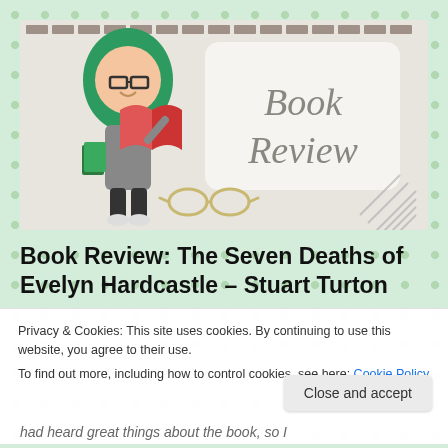[Figure (illustration): Book Review header banner with a Bitmoji character (woman with green hair holding books and a red book open) on the left side against a light beige/tan background with dotted top border. On the right side, a white rounded rectangle card displays 'Book Review' in grey italic cursive script. Below center are illustrated glasses. Bottom right has diagonal line pencil decoration.]
Book Review: The Seven Deaths of Evelyn Hardcastle – Stuart Turton
Privacy & Cookies: This site uses cookies. By continuing to use this website, you agree to their use.
To find out more, including how to control cookies, see here: Cookie Policy
Close and accept
had heard great things about the book, so I